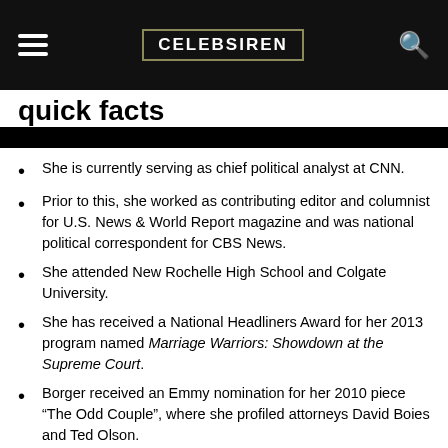CELEBSIREN
She is currently serving as chief political analyst at CNN.
Prior to this, she worked as contributing editor and columnist for U.S. News & World Report magazine and was national political correspondent for CBS News.
She attended New Rochelle High School and Colgate University.
She has received a National Headliners Award for her 2013 program named Marriage Warriors: Showdown at the Supreme Court.
Borger received an Emmy nomination for her 2010 piece "The Odd Couple", where she profiled attorneys David Boies and Ted Olson.
Visit our site for more updates.